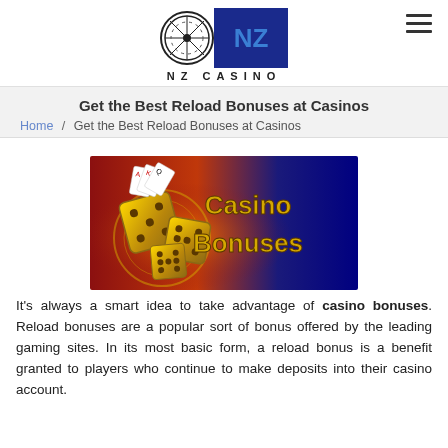[Figure (logo): NZ Casino logo with roulette wheel and NZ in blue box, text NZ CASINO below]
Get the Best Reload Bonuses at Casinos
Home / Get the Best Reload Bonuses at Casinos
[Figure (photo): Casino bonuses banner image showing gold dice and playing cards with text 'Casino Bonuses' in gold on blue background]
It's always a smart idea to take advantage of casino bonuses. Reload bonuses are a popular sort of bonus offered by the leading gaming sites. In its most basic form, a reload bonus is a benefit granted to players who continue to make deposits into their casino account.